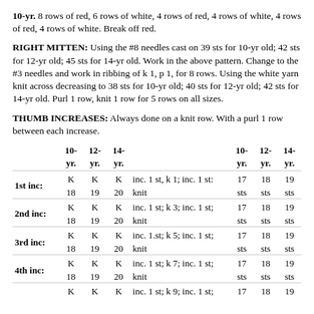10-yr. 8 rows of red, 6 rows of white, 4 rows of red, 4 rows of white, 4 rows of red, 4 rows of white. Break off red.
RIGHT MITTEN: Using the #8 needles cast on 39 sts for 10-yr old; 42 sts for 12-yr old; 45 sts for 14-yr old. Work in the above pattern. Change to the #3 needles and work in ribbing of k 1, p 1, for 8 rows. Using the white yarn knit across decreasing to 38 sts for 10-yr old; 40 sts for 12-yr old; 42 sts for 14-yr old. Purl 1 row, knit 1 row for 5 rows on all sizes.
THUMB INCREASES: Always done on a knit row. With a purl 1 row between each increase.
|  | 10-yr. | 12-yr. | 14-yr. |  | 10-yr. | 12-yr. | 14-yr. |
| --- | --- | --- | --- | --- | --- | --- | --- |
| 1st inc: | K 18 | K 19 | K 20 | inc. 1 st, k 1; inc. 1 st: knit | 17 sts | 18 sts | 19 sts |
| 2nd inc: | K 18 | K 19 | K 20 | inc. 1 st; k 3; inc. 1 st; knit | 17 sts | 18 sts | 19 sts |
| 3rd inc: | K 18 | K 19 | K 20 | inc. 1.st; k 5; inc. 1 st; knit | 17 sts | 18 sts | 19 sts |
| 4th inc: | K 18 | K 19 | K 20 | inc. 1 st; k 7; inc. 1 st; knit | 17 sts | 18 sts | 19 sts |